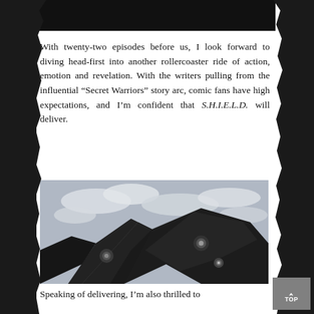[Figure (photo): Top portion of a partially visible image showing dark content, cut off at top of page]
With twenty-two episodes before us, I look forward to diving head-first into another rollercoaster ride of action, emotion and revelation. With the writers pulling from the influential “Secret Warriors” story arc, comic fans have high expectations, and I’m confident that S.H.I.E.L.D. will deliver.
[Figure (photo): Black and white or desaturated photograph of what appears to be dark futuristic aircraft or spacecraft flying against a cloudy sky]
Speaking of delivering, I’m also thrilled to